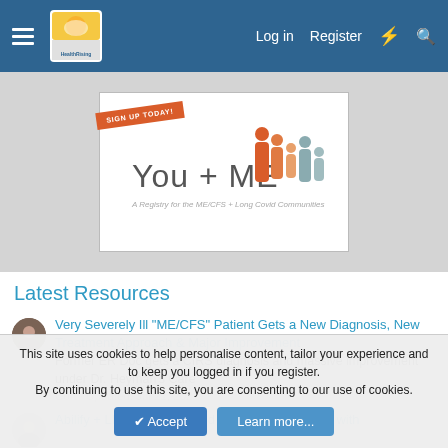Health Rising forum header with hamburger menu, logo, Log in, Register, and search icons
[Figure (illustration): You+ME Registry banner ad — orange ribbon tag saying SIGN UP TODAY!, logo text You + ME with people icons, subtitle: A Registry for the ME/CFS + Long Covid Communities]
Latest Resources
Very Severely Ill "ME/CFS" Patient Gets a New Diagnosis, New Treatment Approach & Major Improvement — Former ER Doc gets a CIRS diagnosis and massive improvement under Dr. Heyman's Care — Cort · Updated: Jul 21, 2022
Abilify + LDN returns retired clinical psychologist with...
This site uses cookies to help personalise content, tailor your experience and to keep you logged in if you register.
By continuing to use this site, you are consenting to our use of cookies.